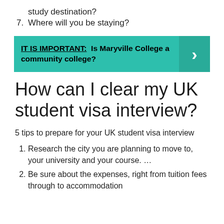study destination?
7. Where will you be staying?
[Figure (infographic): Teal/green banner with bold underlined text 'IT IS IMPORTANT:' followed by bold text 'Is Maryville College a community college?' and a right-arrow chevron on the right side on a darker teal background.]
How can I clear my UK student visa interview?
5 tips to prepare for your UK student visa interview
1. Research the city you are planning to move to, your university and your course. …
2. Be sure about the expenses, right from tuition fees through to accommodation